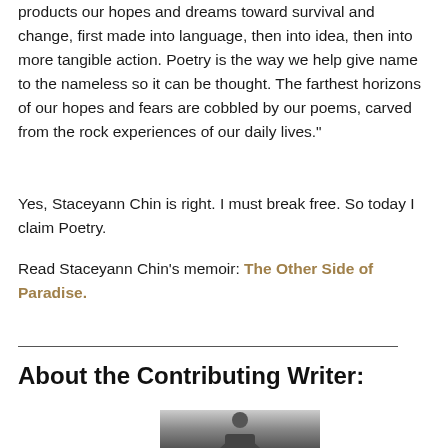products our hopes and dreams toward survival and change, first made into language, then into idea, then into more tangible action. Poetry is the way we help give name to the nameless so it can be thought. The farthest horizons of our hopes and fears are cobbled by our poems, carved from the rock experiences of our daily lives.”
Yes, Staceyann Chin is right. I must break free. So today I claim Poetry.
Read Staceyann Chin’s memoir: The Other Side of Paradise.
About the Contributing Writer:
[Figure (photo): Black and white photograph of a person, partially visible at the bottom of the page]